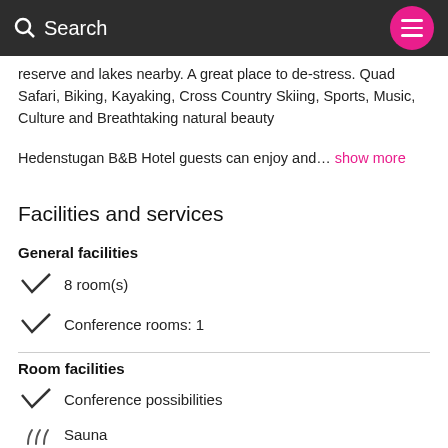Search
reserve and lakes nearby. A great place to de-stress. Quad Safari, Biking, Kayaking, Cross Country Skiing, Sports, Music, Culture and Breathtaking natural beauty
Hedenstugan B&B Hotel guests can enjoy and… show more
Facilities and services
General facilities
8 room(s)
Conference rooms: 1
Room facilities
Conference possibilities
Sauna